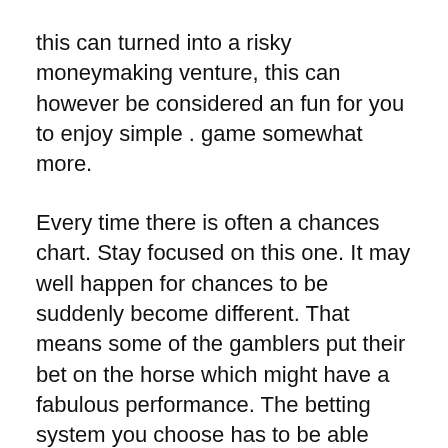this can turned into a risky moneymaking venture, this can however be considered an fun for you to enjoy simple . game somewhat more.
Every time there is often a chances chart. Stay focused on this one. It may well happen for chances to be suddenly become different. That means some of the gamblers put their bet on the horse which might have a fabulous performance. The betting system you choose has to be able display you of the fact that. This type of system which utilizes software to show you this, it is far beyond the systems a person manually should calculate until this. It prevents the mistakes that can manually be practiced and you've made time.